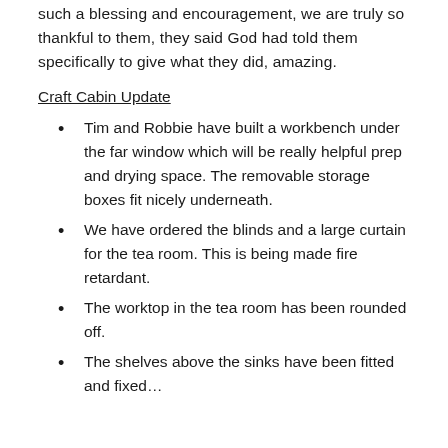such a blessing and encouragement, we are truly so thankful to them, they said God had told them specifically to give what they did, amazing.
Craft Cabin Update
Tim and Robbie have built a workbench under the far window which will be really helpful prep and drying space. The removable storage boxes fit nicely underneath.
We have ordered the blinds and a large curtain for the tea room. This is being made fire retardant.
The worktop in the tea room has been rounded off.
The shelves above the sinks have been fitted and fixed…